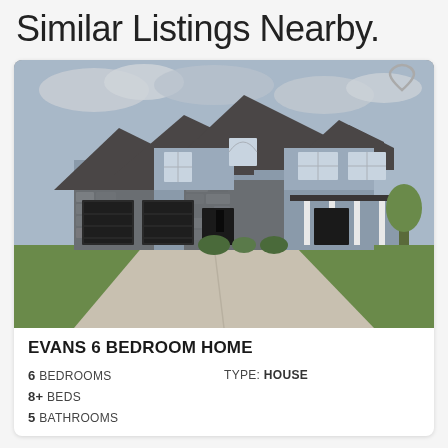Similar Listings Nearby.
[Figure (photo): Exterior photo of a large two-story suburban house with gray siding, stone accents, three-car garage, covered porch, and green lawn. A heart/favorite icon is in the top-right corner of the photo.]
EVANS 6 BEDROOM HOME
6 BEDROOMS
TYPE: HOUSE
8+ BEDS
5 BATHROOMS